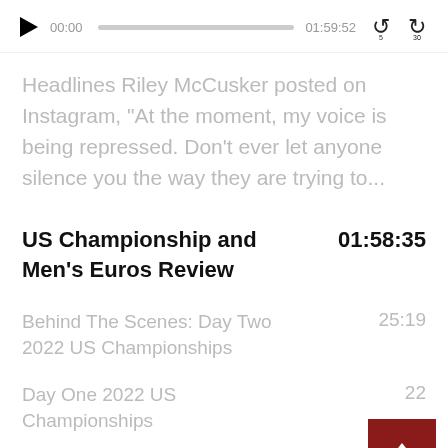[Figure (screenshot): Audio player bar showing play button, time 00:00, progress bar, end time 01:59:52, and rewind/fast-forward controls]
Headlines Riley McCusker posted on Instagram, "At the moment, my voice is being repressed. Don't ever let anyone silence you the way they are trying to...
US Championship and Men's Euros Review
01:58:35
Behind The Scenes: Day Two 2022 US Championships
25:19
Day One 2022 US Championships
22